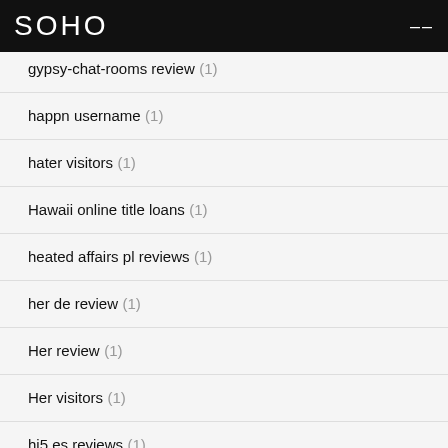SOHO
gypsy-chat-rooms review (1)
happn username (1)
hater visitors (1)
Hawaii online title loans (1)
heated affairs pl reviews (1)
her de review (1)
Her review (1)
Her visitors (1)
hi5 es reviews (1)